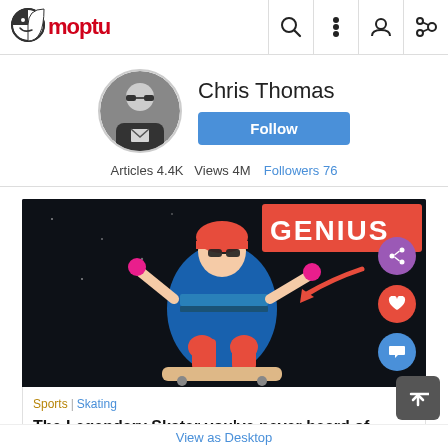Moptu
Chris Thomas
Articles 4.4K  Views 4M  Followers 76
[Figure (photo): A skateboarder performing a trick in the air with colorful outfit, overlaid with red GENIUS text banner and a red arrow pointing to a share button. Three circular action buttons (share, like, comment) are visible on the right side.]
Sports | Skating
The Legendary Skater you've never heard of....
View as Desktop